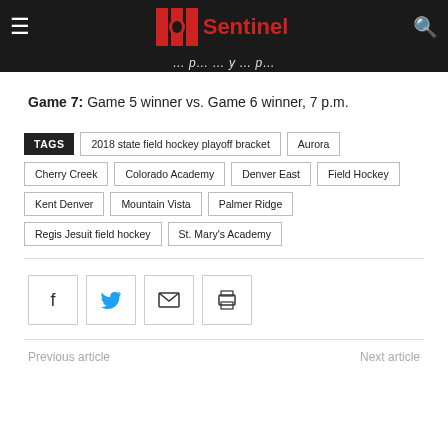Sentinel
Game 7: Game 5 winner vs. Game 6 winner, 7 p.m.
TAGS  2018 state field hockey playoff bracket  Aurora  Cherry Creek  Colorado Academy  Denver East  Field Hockey  Kent Denver  Mountain Vista  Palmer Ridge  Regis Jesuit field hockey  St. Mary's Academy
Previous article
Next article